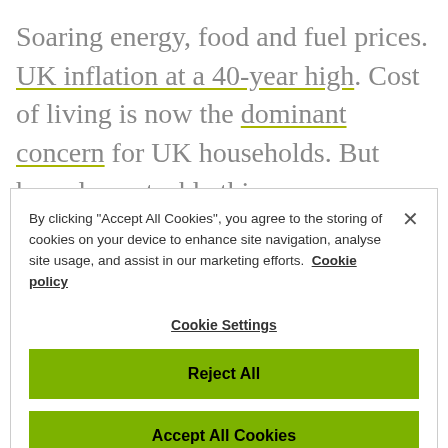Soaring energy, food and fuel prices. UK inflation at a 40-year high. Cost of living is now the dominant concern for UK households. But how do we tackle this
By clicking "Accept All Cookies", you agree to the storing of cookies on your device to enhance site navigation, analyse site usage, and assist in our marketing efforts. Cookie policy
Cookie Settings
Reject All
Accept All Cookies